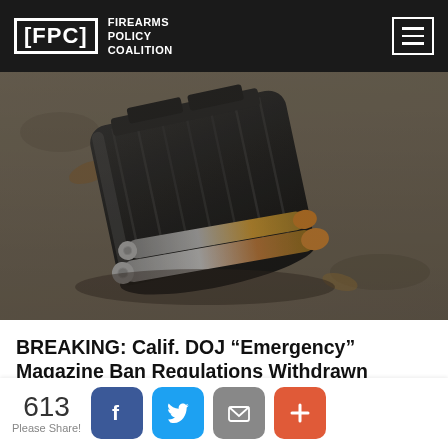FPC FIREARMS POLICY COALITION
[Figure (photo): Close-up photograph of a curved rifle magazine with two bullets/cartridges partially inserted, lying on a concrete or asphalt surface with a fallen leaf visible in the background.]
BREAKING: Calif. DOJ “Emergency” Magazine Ban Regulations Withdrawn
“This is welcomed news for law-abiding gun owners and the thousands of people who stood up for
613 Please Share!